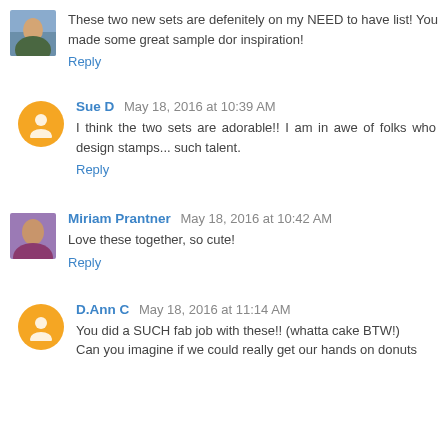These two new sets are defenitely on my NEED to have list! You made some great sample dor inspiration!
Reply
Sue D May 18, 2016 at 10:39 AM
I think the two sets are adorable!! I am in awe of folks who design stamps... such talent.
Reply
Miriam Prantner May 18, 2016 at 10:42 AM
Love these together, so cute!
Reply
D.Ann C May 18, 2016 at 11:14 AM
You did a SUCH fab job with these!! (whatta cake BTW!) Can you imagine if we could really get our hands on donuts